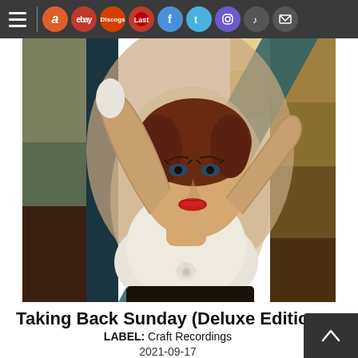Navigation bar with hamburger menu, Amazon, eBay, Discogs, social media icons (Facebook, Twitter, Instagram, TikTok, Email)
[Figure (photo): Album cover art for Taking Back Sunday (Deluxe Edition) — a surrealist painting-style image of a woman with red lips, brown hair, white dress with rose corsage, leaning back against geometric colored blocks in teal, olive, brown, and yellow tones]
Taking Back Sunday (Deluxe Edition)
LABEL: Craft Recordings
2021-09-17